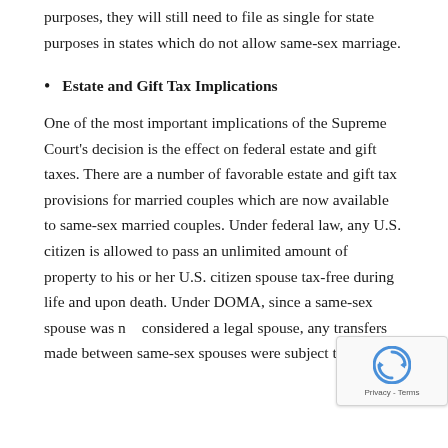purposes, they will still need to file as single for state purposes in states which do not allow same-sex marriage.
Estate and Gift Tax Implications
One of the most important implications of the Supreme Court's decision is the effect on federal estate and gift taxes. There are a number of favorable estate and gift tax provisions for married couples which are now available to same-sex married couples. Under federal law, any U.S. citizen is allowed to pass an unlimited amount of property to his or her U.S. citizen spouse tax-free during life and upon death. Under DOMA, since a same-sex spouse was not considered a legal spouse, any transfers made between same-sex spouses were subject to